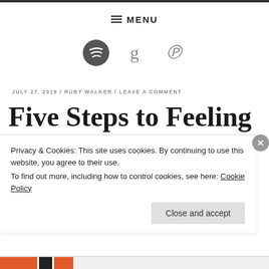≡ MENU
[Figure (other): Social media icons: Spotify (circle with S-wave logo), Goodreads (g), Pinterest (P)]
JULY 27, 2019 / RUBY WALKER / LEAVE A COMMENT
Five Steps to Feeling
Privacy & Cookies: This site uses cookies. By continuing to use this website, you agree to their use.
To find out more, including how to control cookies, see here: Cookie Policy
Close and accept